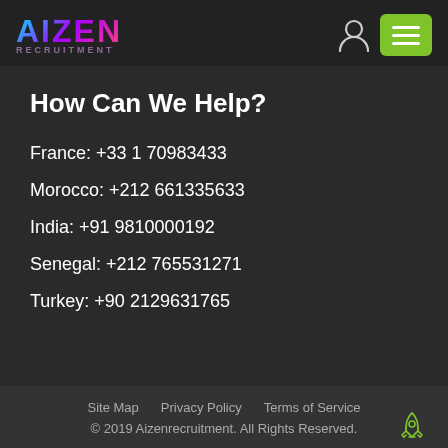AIZEN RECRUITMENT
How Can We Help?
France: +33 1 70983433
Morocco: +212 661335633
India: +91 9810000192
Senegal: +212 765531271
Turkey: +90 2129631765
Site Map   Privacy Policy   Terms of Service
© 2019 Aizenrecruitment. All Rights Reserved.